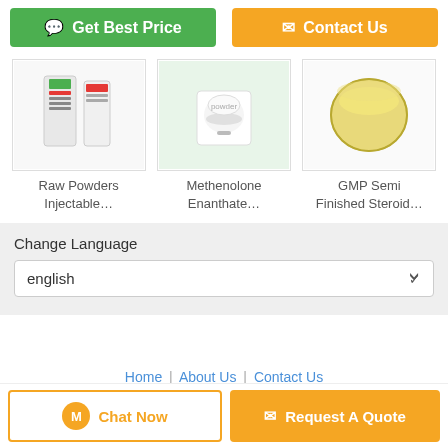[Figure (screenshot): Get Best Price button (green) and Contact Us button (orange)]
[Figure (photo): Raw Powders Injectable product image]
Raw Powders Injectable…
[Figure (photo): Methenolone Enanthate product image]
Methenolone Enanthate…
[Figure (photo): GMP Semi Finished Steroid product image (yellow liquid in glass)]
GMP Semi Finished Steroid…
Change Language
english
Home | About Us | Contact Us
Desktop View
Copyright © 2018 - 2022 musclegrowthsteroids.com. All rights reserved.
Chat Now
Request A Quote